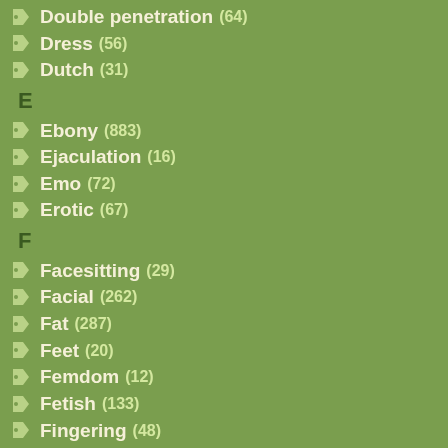Double penetration (64)
Dress (56)
Dutch (31)
E
Ebony (883)
Ejaculation (16)
Emo (72)
Erotic (67)
F
Facesitting (29)
Facial (262)
Fat (287)
Feet (20)
Femdom (12)
Fetish (133)
Fingering (48)
First time (137)